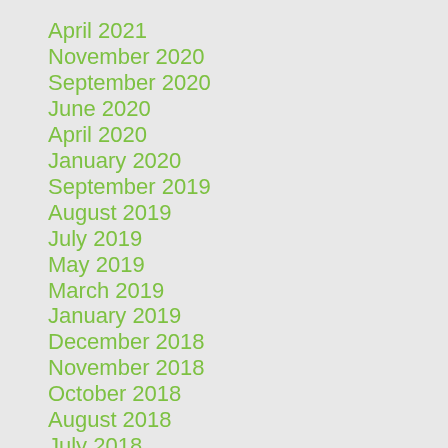April 2021
November 2020
September 2020
June 2020
April 2020
January 2020
September 2019
August 2019
July 2019
May 2019
March 2019
January 2019
December 2018
November 2018
October 2018
August 2018
July 2018
June 2018
May 2018